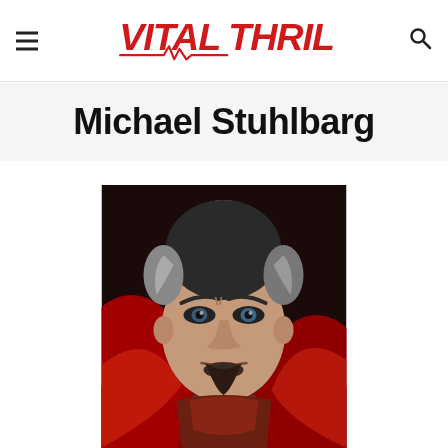VITAL THRILLS
Michael Stuhlbarg
[Figure (photo): Close-up promotional photo of a man in a superhero costume resembling Doctor Strange from Marvel, with red cape, intense expression, dark hair with grey temples, goatee, against a dark red dramatic background.]